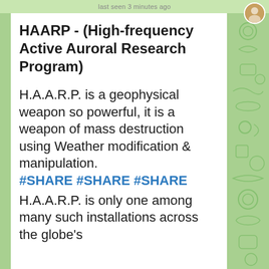last seen 3 minutes ago
HAARP - (High-frequency Active Auroral Research Program)
H.A.A.R.P. is a geophysical weapon so powerful, it is a weapon of mass destruction using Weather modification & manipulation.
#SHARE #SHARE #SHARE
H.A.A.R.P. is only one among many such installations across the globe's